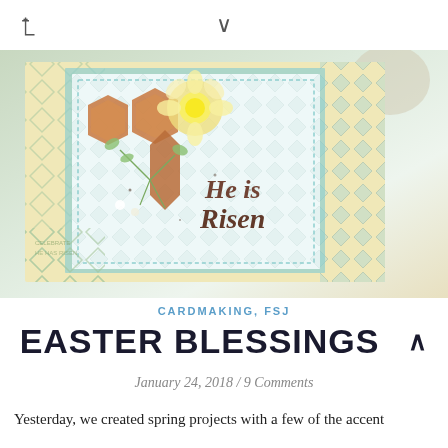[Figure (photo): Easter greeting card with 'He is Risen' text, featuring floral decorations, green diamond pattern background, teal border, and watercolor flowers on a cream card base.]
CARDMAKING, FSJ
EASTER BLESSINGS
January 24, 2018 / 9 Comments
Yesterday, we created spring projects with a few of the accent